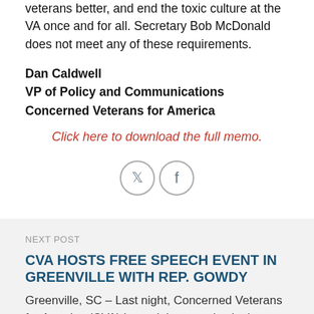veterans better, and end the toxic culture at the VA once and for all. Secretary Bob McDonald does not meet any of these requirements.
Dan Caldwell
VP of Policy and Communications
Concerned Veterans for America
Click here to download the full memo.
[Figure (illustration): Twitter and Facebook social share icons]
NEXT POST
CVA HOSTS FREE SPEECH EVENT IN GREENVILLE WITH REP. GOWDY
Greenville, SC – Last night, Concerned Veterans for America (CVA) hosted the organization's